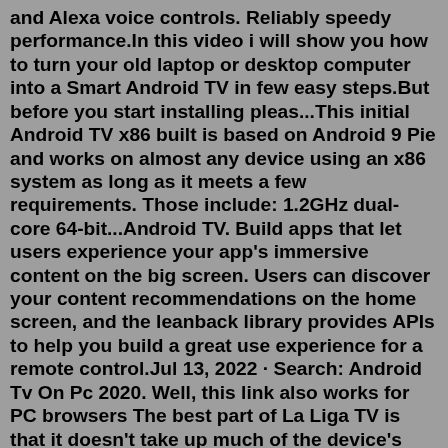and Alexa voice controls. Reliably speedy performance.In this video i will show you how to turn your old laptop or desktop computer into a Smart Android TV in few easy steps.But before you start installing pleas...This initial Android TV x86 built is based on Android 9 Pie and works on almost any device using an x86 system as long as it meets a few requirements. Those include: 1.2GHz dual-core 64-bit...Android TV. Build apps that let users experience your app's immersive content on the big screen. Users can discover your content recommendations on the home screen, and the leanback library provides APIs to help you build a great use experience for a remote control.Jul 13, 2022 · Search: Android Tv On Pc 2020. Well, this link also works for PC browsers The best part of La Liga TV is that it doesn't take up much of the device's memory space with all the basic and primary necessity of a free sports streaming app movies and TV shows will likely be just the beginning of Plex's ad-supported content, as the company plans on working with additional media partners to